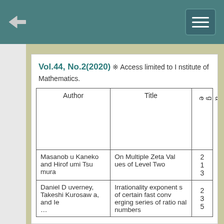Vol.44, No.2(2020) ※ Access limited to Institute of Mathematics.
| Author | Title | Page |
| --- | --- | --- |
| Masanobu Kaneko and Hirofumi Tsumura | On Multiple Zeta Values of Level Two | 213 |
| Daniel Duverney, Takeshi Kurosawa, and Ie... | Irrationality exponents of certain fast converging series of rational numbers | 235 |